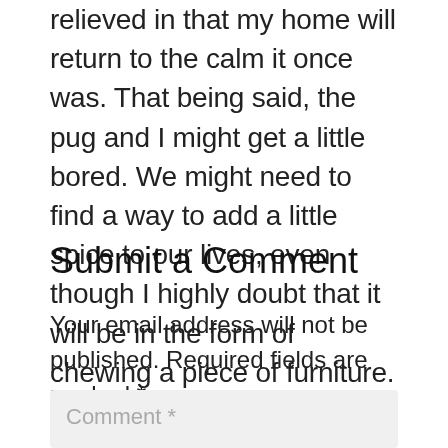relieved in that my home will return to the calm it once was. That being said, the pug and I might get a little bored. We might need to find a way to add a little spice to our lives, even though I highly doubt that it will be in the form of chewing a piece of furniture.
Submit a Comment
Your email address will not be published. Required fields are marked *
Comment *